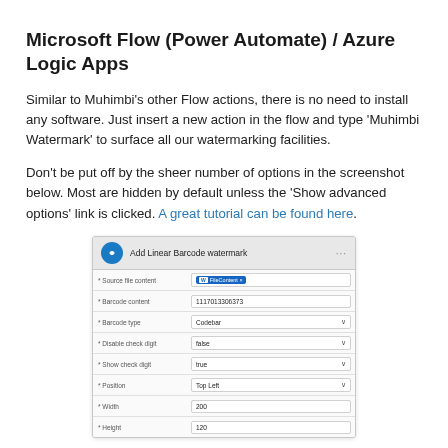Microsoft Flow (Power Automate) / Azure Logic Apps
Similar to Muhimbi's other Flow actions, there is no need to install any software. Just insert a new action in the flow and type 'Muhimbi Watermark' to surface all our watermarking facilities.
Don't be put off by the sheer number of options in the screenshot below. Most are hidden by default unless the 'Show advanced options' link is clicked. A great tutorial can be found here.
[Figure (screenshot): Screenshot of Microsoft Power Automate / Azure Logic Apps action panel titled 'Add Linear Barcode watermark' showing form fields: Source file content (FileContent), Barcode content (1117013306373), Barcode type (Codebar), Disable check digit (false), Show check digit (true), Position (Top Left), Width (200), Height (120).]